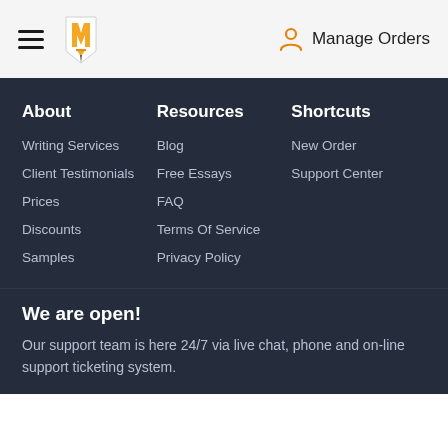Manage Orders
About
Writing Services
Client Testimonials
Prices
Discounts
Samples
Resources
Blog
Free Essays
FAQ
Terms Of Service
Privacy Policy
Shortcuts
New Order
Support Center
We are open!
Our support team is here 24/7 via live chat, phone and on-line support ticketing system.